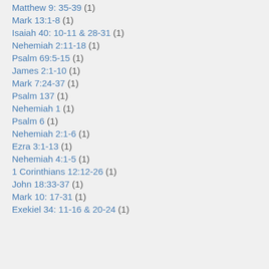Matthew 9: 35-39 (1)
Mark 13:1-8 (1)
Isaiah 40: 10-11 & 28-31 (1)
Nehemiah 2:11-18 (1)
Psalm 69:5-15 (1)
James 2:1-10 (1)
Mark 7:24-37 (1)
Psalm 137 (1)
Nehemiah 1 (1)
Psalm 6 (1)
Nehemiah 2:1-6 (1)
Ezra 3:1-13 (1)
Nehemiah 4:1-5 (1)
1 Corinthians 12:12-26 (1)
John 18:33-37 (1)
Mark 10: 17-31 (1)
Exekiel 34: 11-16 & 20-24 (1)